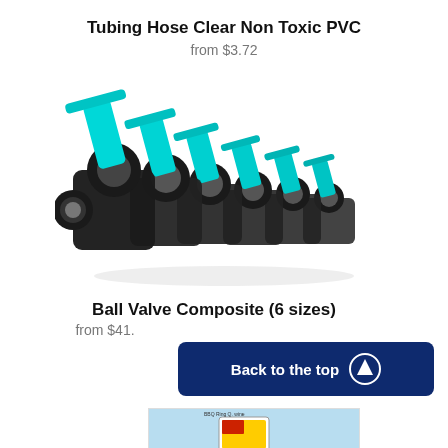Tubing Hose Clear Non Toxic PVC
from $3.72
[Figure (photo): Six black composite ball valves with teal/cyan handles, arranged in a perspective row showing increasing sizes from left to right]
Ball Valve Composite (6 sizes)
from $41.
Back to the top
[Figure (screenshot): Partial screenshot of a map or diagram with a small thumbnail image visible at the top, showing a colorful icon on a light blue background]